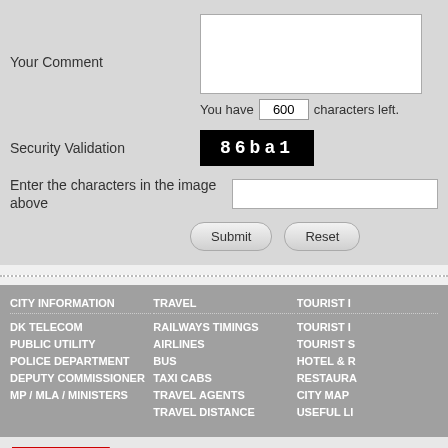Your Comment
You have 600 characters left.
Security Validation
[Figure (other): CAPTCHA image showing text '86ba1' on black background]
Enter the characters in the image above
Submit
Reset
CITY INFORMATION
DK TELECOM
PUBLIC UTILITY
POLICE DEPARTMENT
DEPUTY COMMISSIONER
MP / MLA / MINISTERS
TRAVEL
RAILWAYS TIMINGS
AIRLINES
BUS
TAXI CABS
TRAVEL AGENTS
TRAVEL DISTANCE
TOURIST I...
TOURIST I...
TOURIST S...
HOTEL & R...
RESTAURA...
CITY MAP
USEFUL LI...
About Us | Contact Us | Privacy Policy | Terms of Service